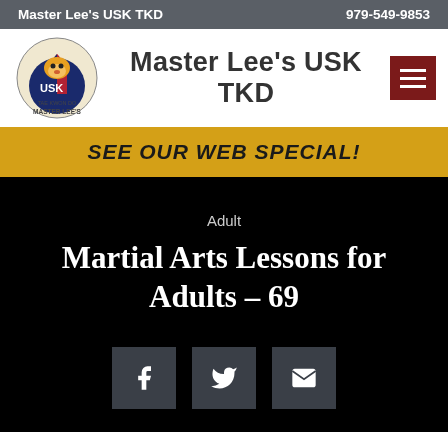Master Lee's USK TKD   979-549-9853
Master Lee's USK TKD
SEE OUR WEB SPECIAL!
Adult
Martial Arts Lessons for Adults – 69
[Figure (infographic): Social share buttons: Facebook, Twitter, Email]